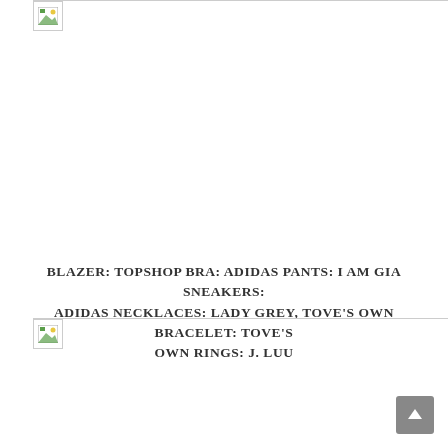[Figure (photo): Top image placeholder with broken image icon]
BLAZER: TOPSHOP BRA: ADIDAS PANTS: I AM GIA SNEAKERS: ADIDAS NECKLACES: LADY GREY, TOVE'S OWN BRACELET: TOVE'S OWN RINGS: J. LUU
[Figure (photo): Bottom image placeholder with broken image icon]